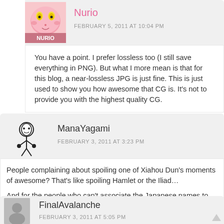[Figure (photo): Avatar image of user Nurio — pink round cartoon character with yellow eyes]
Nurio
FEBRUARY 5, 2011 AT 10:04 PM
You have a point. I prefer lossless too (I still save everything in PNG). But what I more mean is that for this blog, a near-lossless JPG is just fine. This is just used to show you how awesome that CG is. It's not to provide you with the highest quality CG.
[Figure (illustration): Avatar image of user ManaYagami — black and white cartoon character]
ManaYagami
FEBRUARY 3, 2011 AT 3:23 PM
People complaining about spoiling one of Xiahou Dun's moments of awesome? That's like spoiling Hamlet or the Iliad...

And for the people who can't associate the Japanese names to the Three Kingdoms' characters, due to how moefied they are (DAT Dong Zhuo), this can help you:
http://yueying.net/dw/names/japanese/
REPLY
[Figure (photo): Default gray avatar placeholder for user FinalAvalanche]
FinalAvalanche
FEBRUARY 3, 2011 AT 5:05 PM